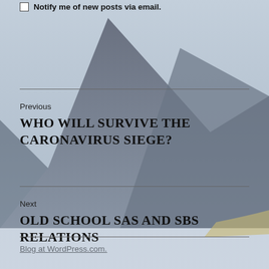Notify me of new posts via email.
Previous
WHO WILL SURVIVE THE CARONAVIRUS SIEGE?
Next
OLD SCHOOL SAS AND SBS RELATIONS
Blog at WordPress.com.